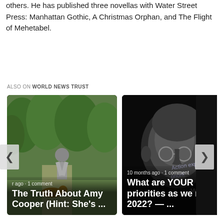others. He has published three novellas with Water Street Press: Manhattan Gothic, A Christmas Orphan, and The Flight of Mehetabel.
ALSO ON WORLD NEWS TRUST
[Figure (screenshot): Carousel of related articles on World News Trust. Left card: 'The Truth About Amy Cooper (Hint: She's ...' with outdoor park photo, showing '...ago · 1 comment'. Right card: 'What are YOUR priorities as we near 2022? — ...' with black and white portrait photo, showing '10 months ago · 1 comment'. Partial third card visible on right edge. Left and right navigation arrows visible.]